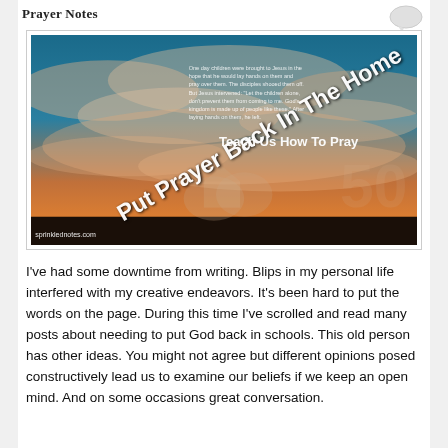Prayer Notes
[Figure (photo): Inspirational photo of a dramatic sunset sky with clouds. Text overlay reads 'Put Prayer Back In The Home' and 'Teach Us How To Pray'. Bible verse text in upper left. Website watermark 'sprinklednotes.com' at bottom left. Ghosted images of praying hands and houses in lower portion.]
I've had some downtime from writing. Blips in my personal life interfered with my creative endeavors. It's been hard to put the words on the page. During this time I've scrolled and read many posts about needing to put God back in schools. This old person has other ideas. You might not agree but different opinions posed constructively lead us to examine our beliefs if we keep an open mind. And on some occasions great conversation.